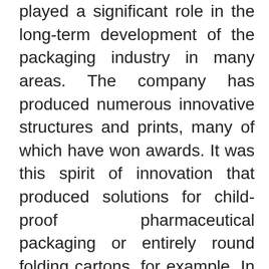played a significant role in the long-term development of the packaging industry in many areas. The company has produced numerous innovative structures and prints, many of which have won awards. It was this spirit of innovation that produced solutions for child-proof pharmaceutical packaging or entirely round folding cartons, for example. In total the Group can boast over 25 national and international patents, design patents and utility patents and can fall back on an ideas archive of 2,500 packaging creations. Its quality assurance system led to the Heidenheim-based company becoming one of the first German companies to be awarded the RAL quality seal for pharmaceutical packaging, thus gaining DIN-ISO certification. The company is also involved in the